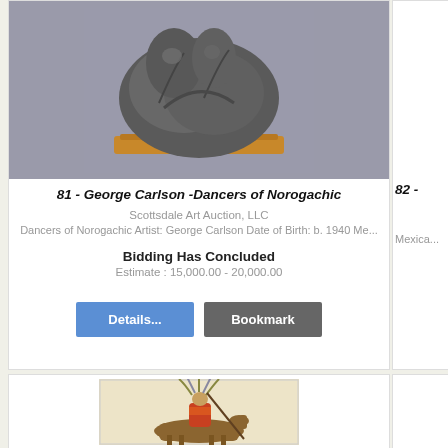[Figure (photo): Bronze sculpture of dancers on a wooden base, shown against gray background]
81 - George Carlson -Dancers of Norogachic
Scottsdale Art Auction, LLC
Dancers of Norogachic Artist: George Carlson Date of Birth: b. 1940 Me...
Bidding Has Concluded
Estimate : 15,000.00 - 20,000.00
82 -
Mexica...
[Figure (photo): Painting of a Native American chief on horseback wearing a war bonnet, holding a lance]